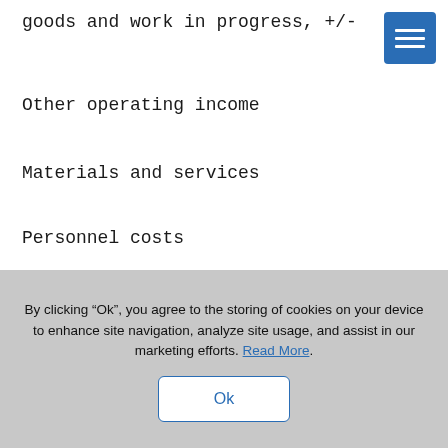change in inventories of finished goods and work in progress, +/-
Other operating income
Materials and services
Personnel costs
Depreciation and amortization
By clicking “Ok”, you agree to the storing of cookies on your device to enhance site navigation, analyze site usage, and assist in our marketing efforts. Read More.